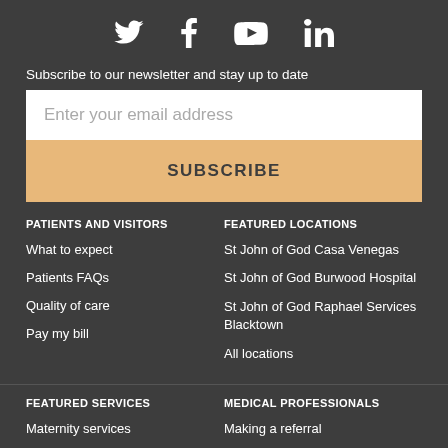[Figure (infographic): Social media icons: Twitter, Facebook, Vimeo, LinkedIn]
Subscribe to our newsletter and stay up to date
Enter your email address
SUBSCRIBE
PATIENTS AND VISITORS
What to expect
Patients FAQs
Quality of care
Pay my bill
FEATURED LOCATIONS
St John of God Casa Venegas
St John of God Burwood Hospital
St John of God Raphael Services Blacktown
All locations
FEATURED SERVICES
Maternity services
MEDICAL PROFESSIONALS
Making a referral